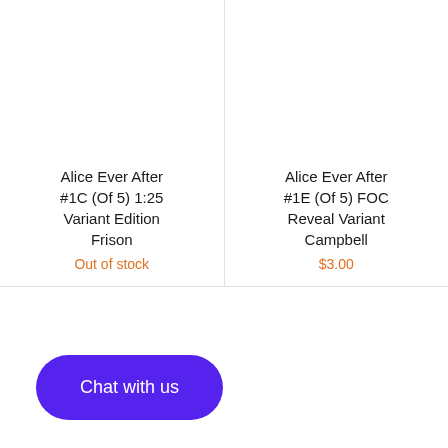Alice Ever After #1C (Of 5) 1:25 Variant Edition Frison
Out of stock
Alice Ever After #1E (Of 5) FOC Reveal Variant Campbell
$3.00
Chat with us